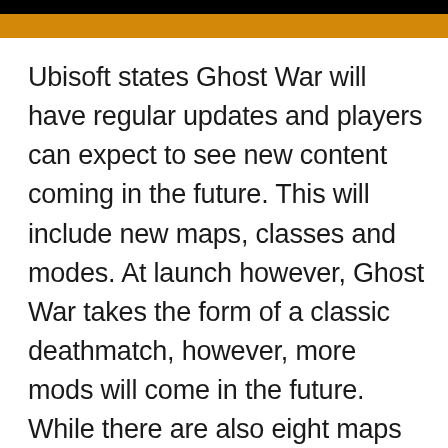[Figure (other): Black and orange decorative header bar at the top of the page]
Ubisoft states Ghost War will have regular updates and players can expect to see new content coming in the future. This will include new maps, classes and modes. At launch however, Ghost War takes the form of a classic deathmatch, however, more mods will come in the future. While there are also eight maps confirmed for the mode at launch, more will be coming.